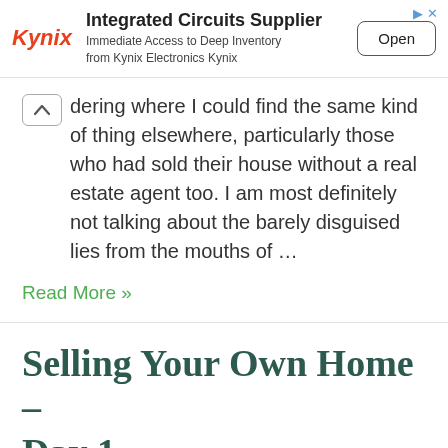[Figure (other): Kynix Electronics advertisement banner with logo, 'Integrated Circuits Supplier' heading, subtitle 'Immediate Access to Deep Inventory from Kynix Electronics Kynix', and an 'Open' button.]
dering where I could find the same kind of thing elsewhere, particularly those who had sold their house without a real estate agent too. I am most definitely not talking about the barely disguised lies from the mouths of …
Read More »
Selling Your Own Home – Day 1
Leave a Comment / Real Estate / By Finance Gourmet